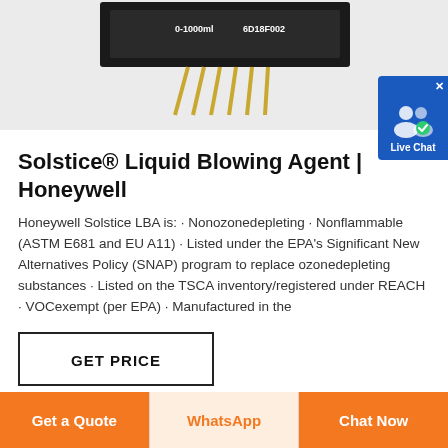[Figure (photo): Product photo of a sensor/chip component labeled 0-1000ml 6D18F002 with gold pins on a white background]
[Figure (other): Live Chat button widget with user icon and blue background]
Solstice® Liquid Blowing Agent | Honeywell
Honeywell Solstice LBA is: · Nonozonedepleting · Nonflammable (ASTM E681 and EU A11) · Listed under the EPA's Significant New Alternatives Policy (SNAP) program to replace ozonedepleting substances · Listed on the TSCA inventory/registered under REACH · VOCexempt (per EPA) · Manufactured in the
GET PRICE
CHAT WITH AN EXPERT
Get a Quote
WhatsApp
Chat Now